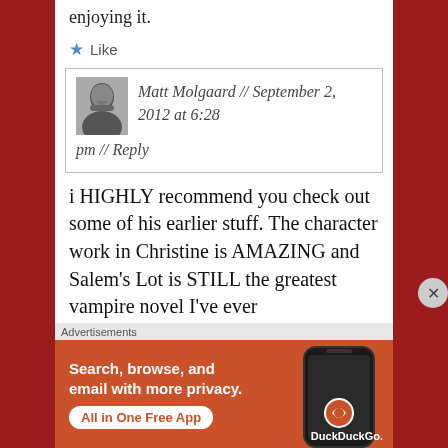enjoying it.
★ Like
Matt Molgaard // September 2, 2012 at 6:28 pm // Reply
i HIGHLY recommend you check out some of his earlier stuff. The character work in Christine is AMAZING and Salem's Lot is STILL the greatest vampire novel I've ever
[Figure (screenshot): DuckDuckGo advertisement banner: Search, browse, and email with more privacy. All in One Free App. Shows a phone with DuckDuckGo app.]